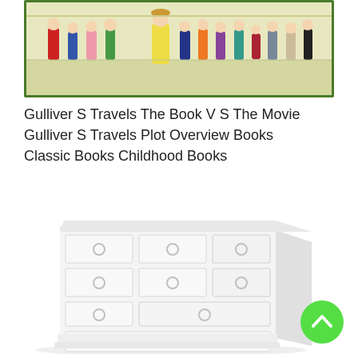[Figure (illustration): Colorful illustration showing a crowd of children and people outdoors, with a yellow-green background, part of a Gulliver's Travels book illustration.]
Gulliver S Travels The Book V S The Movie Gulliver S Travels Plot Overview Books Classic Books Childhood Books
[Figure (illustration): Illustration of a white wooden chest of drawers (dresser) with multiple drawers with circular ring handles, shown in a light gray/white color scheme.]
[Figure (illustration): Green circular scroll-to-top button with an upward-pointing chevron arrow, positioned in the bottom-right corner.]